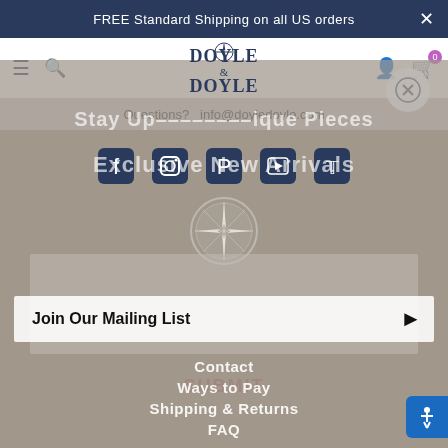FREE Standard Shipping on all US orders
Questions?  info@doyledoyle.com
[Figure (logo): Doyle & Doyle logo with compass star emblem, navy text]
Stay Up... ...ique Pieces
[Figure (infographic): Social media icons row: Facebook, Instagram, Pinterest, YouTube/bookmark, Twitter]
Exclusive New Arrivals
[Figure (logo): Doyle & Doyle compass star circle logo, gray toned]
Join Our Mailing List
Contact
SUBMIT
Ways to Pay
Shipping & Returns
FAQ